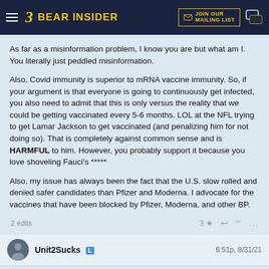Bear Insider — JOIN OUR MAILING LIST
As far as a misinformation problem, I know you are but what am I. You literally just peddled misinformation.
Also, Covid immunity is superior to mRNA vaccine immunity. So, if your argument is that everyone is going to continuously get infected, you also need to admit that this is only versus the reality that we could be getting vaccinated every 5-6 months. LOL at the NFL trying to get Lamar Jackson to get vaccinated (and penalizing him for not doing so). That is completely against common sense and is HARMFUL to him. However, you probably support it because you love shoveling Fauci's *****
Also, my issue has always been the fact that the U.S. slow rolled and denied safer candidates than Pfizer and Moderna. I advocate for the vaccines that have been blocked by Pfizer, Moderna, and other BP.
2 edits   3 ★
Unit2Sucks  L   6:51p, 8/31/21
In reply to oski003
oski003 said: